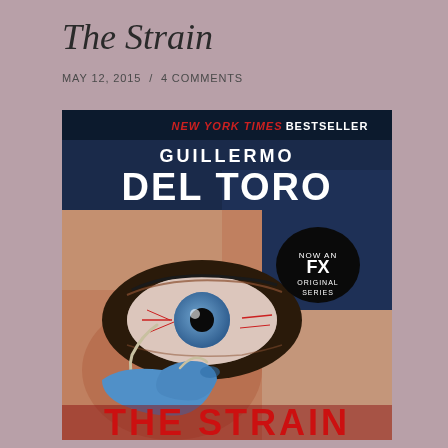The Strain
MAY 12, 2015  /  4 COMMENTS
[Figure (photo): Book cover of 'The Strain' by Guillermo Del Toro. The cover shows a close-up of a human eye with a worm-like creature emerging from it, held by blue-gloved fingers. Text reads: NEW YORK TIMES BESTSELLER, GUILLERMO DEL TORO, NOW AN FX ORIGINAL SERIES, THE STRAIN.]